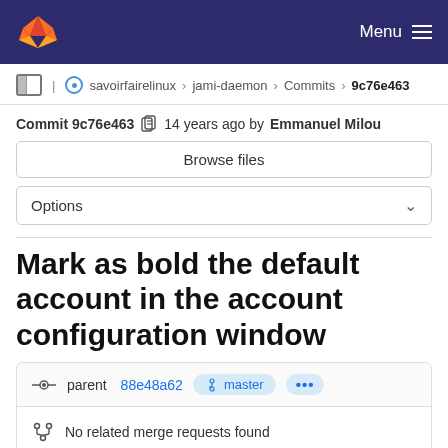GitLab navigation bar with Menu
savoirfairelinux › jami-daemon › Commits › 9c76e463
Commit 9c76e463  14 years ago by Emmanuel Milou
Browse files
Options
Mark as bold the default account in the account configuration window
parent 88e48a62  master  ...
No related merge requests found